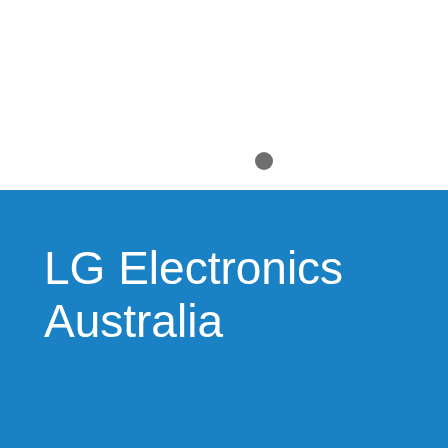[Figure (other): Cover page with white upper section containing a small grey dot, and a solid blue lower section with the company name 'LG Electronics Australia' in white text.]
LG Electronics Australia